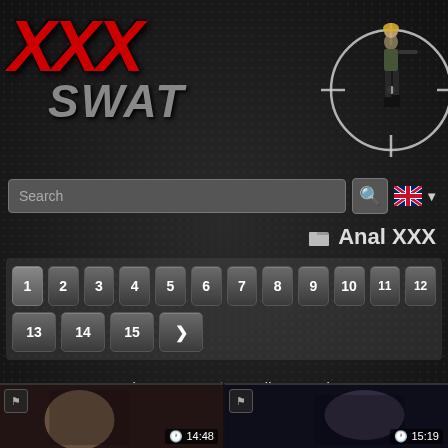[Figure (logo): XXX SWAT website logo with red XXX letters in grunge style, gray SWAT text, and a crosshair circle with a woman figure on the right]
Search
📁 Anal XXX
Pagination: 1 2 3 4 5 6 7 8 9 10 11 12 13 14 15 ►
◆ Popular XXX ▼   ☰ All XXX Tubes ▼
Tags: 🔍 Anal  🔍 Anal fisting  🔍 Teen anal  🔍 Mature anal  🔍 anal playing  🔍 turkish anal  🔍 French anal  🔍 Pooping anal  🔍 Arab anal  🔍 standings anal
[Figure (screenshot): Two video thumbnails at the bottom with duration overlays showing 14:48 and 15:19]